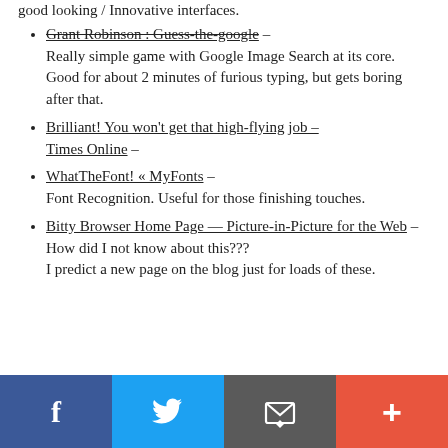good looking / Innovative interfaces.
Grant Robinson : Guess-the-google – Really simple game with Google Image Search at its core. Good for about 2 minutes of furious typing, but gets boring after that.
Brilliant! You won't get that high-flying job – Times Online –
WhatTheFont! « MyFonts – Font Recognition. Useful for those finishing touches.
Bitty Browser Home Page — Picture-in-Picture for the Web – How did I not know about this??? I predict a new page on the blog just for loads of these.
[Figure (infographic): Social sharing footer bar with four buttons: Facebook (blue, f icon), Twitter (light blue, bird icon), Email (dark grey, envelope icon), Add/Plus (red-orange, + icon)]